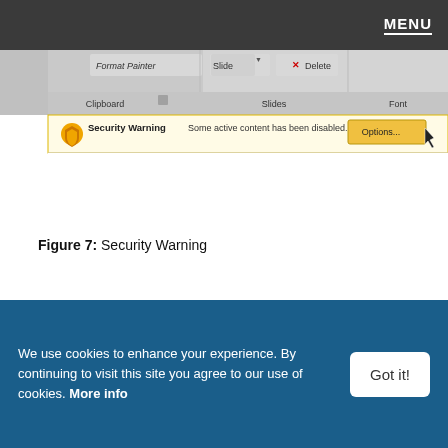MENU
[Figure (screenshot): Screenshot of Microsoft PowerPoint ribbon showing Clipboard, Slides, and Font groups at top, with a Security Warning bar below reading 'Some active content has been disabled.' and an Options... button]
Figure 7: Security Warning
We use cookies to enhance your experience. By continuing to visit this site you agree to our use of cookies. More info
Got it!